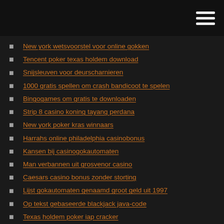New york wetsvoorstel voor online gokken
Tencent poker texas holdem download
Snijsleuven voor deurscharnieren
1000 gratis spellen om crash bandicoot te spelen
Bingogames om gratis te downloaden
Strip 8 casino koning tayang perdana
New york poker kras winnaars
Harrahs online philadelphia casinobonus
Kansen bij casinogokautomaten
Man verbannen uit grosvenor casino
Caesars casino bonus zonder storting
Lijst gokautomaten genaamd groot geld uit 1997
Op tekst gebaseerde blackjack java-code
Texas holdem poker iap cracker